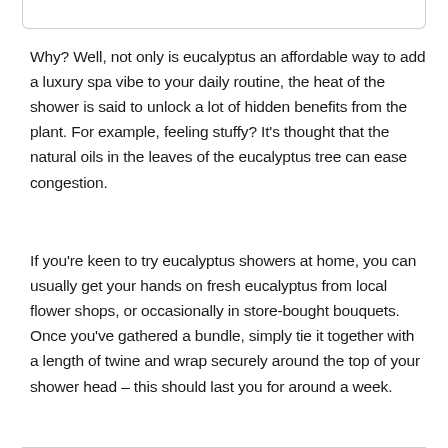Why? Well, not only is eucalyptus an affordable way to add a luxury spa vibe to your daily routine, the heat of the shower is said to unlock a lot of hidden benefits from the plant. For example, feeling stuffy? It's thought that the natural oils in the leaves of the eucalyptus tree can ease congestion.
If you're keen to try eucalyptus showers at home, you can usually get your hands on fresh eucalyptus from local flower shops, or occasionally in store-bought bouquets. Once you've gathered a bundle, simply tie it together with a length of twine and wrap securely around the top of your shower head – this should last you for around a week.